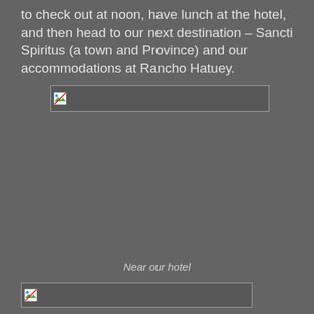to check out at noon, have lunch at the hotel, and then head to our next destination – Sancti Spiritus (a town and Province) and our accommodations at Rancho Hatuey.
[Figure (photo): Broken/missing image placeholder (wide horizontal banner image)]
Near our hotel
[Figure (photo): Broken/missing image placeholder (wide horizontal image)]